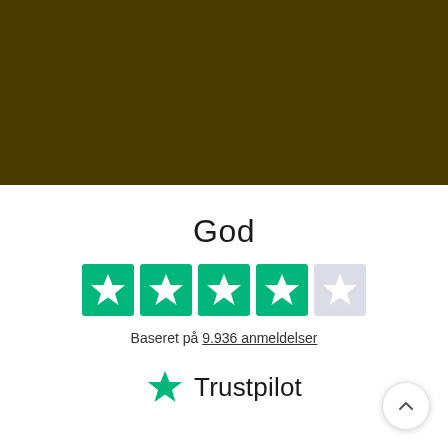[Figure (other): Dark olive/brown banner image at top of page]
God
[Figure (infographic): Trustpilot 4-star rating displayed as 4 green star boxes and 1 gray star box]
Baseret på 9.936 anmeldelser
[Figure (logo): Trustpilot logo with green star and Trustpilot text]